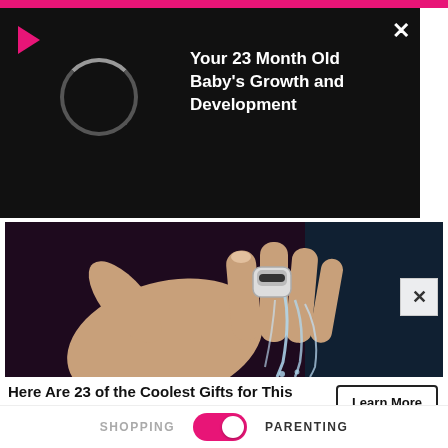[Figure (screenshot): Pink top bar of a website/app]
[Figure (screenshot): Video overlay panel with play button, loading circle, title 'Your 23 Month Old Baby's Growth and Development', and an X close button]
Your 23 Month Old Baby's Growth and Development
[Figure (photo): Close-up photo of a hand wearing a high-tech wearable ring-shaped faucet device with water flowing from it]
Here Are 23 of the Coolest Gifts for This 2022
CoolGifts
Learn More
SHOPPING    PARENTING